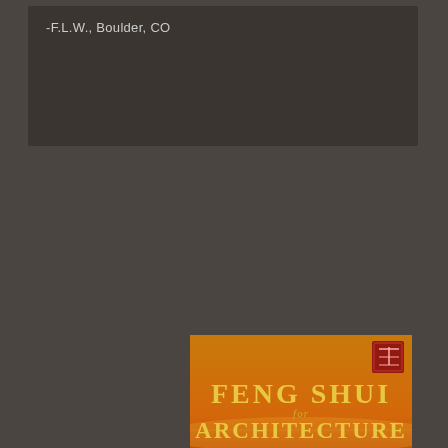-F.L.W., Boulder, CO
[Figure (illustration): Book cover for 'Feng Shui for Architecture: How to Design, Build and Remodel to Create a Healthy and Serene Home'. Shows a woman leaning over architectural plans against a dramatic red/orange sunset sky background. Red Chinese seal stamp in upper right corner.]